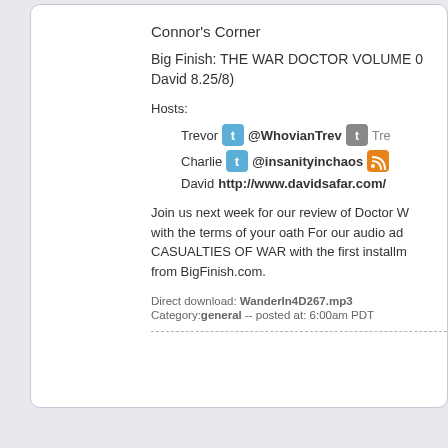Connor's Corner
Big Finish: THE WAR DOCTOR VOLUME 0... David 8.25/8)
Hosts:
Trevor @WhovianTrev Tre...
Charlie @insanityinchaos
David http://www.davidsafar.com/
Join us next week for our review of Doctor W... with the terms of your oath For our audio ad... CASUALTIES OF WAR with the first installm... from BigFinish.com.
Direct download: WanderIn4D267.mp3
Category:general -- posted at: 6:00am PDT